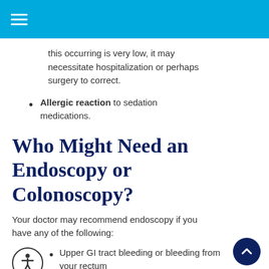Menu/Navigation header bar
this occurring is very low, it may necessitate hospitalization or perhaps surgery to correct.
Allergic reaction to sedation medications.
Who Might Need an Endoscopy or Colonoscopy?
Your doctor may recommend endoscopy if you have any of the following:
Upper GI tract bleeding or bleeding from your rectum